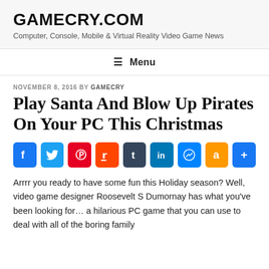GAMECRY.COM
Computer, Console, Mobile & Virtual Reality Video Game News
≡ Menu
NOVEMBER 8, 2016 BY GAMECRY
Play Santa And Blow Up Pirates On Your PC This Christmas
[Figure (infographic): Social share buttons: Facebook, Twitter, Pinterest, Reddit, Tumblr, LinkedIn, Messenger, Amazon, Share]
Arrrr you ready to have some fun this Holiday season? Well, video game designer Roosevelt S Dumornay has what you've been looking for… a hilarious PC game that you can use to deal with all of the boring family